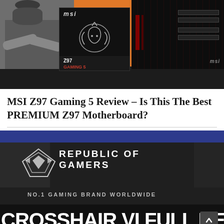[Figure (photo): MSI Z97 Gaming 5 motherboard product photo with a person standing arms crossed on orange background, showing the MSI box and the motherboard itself with red accents and dark strip at bottom]
MSI Z97 Gaming 5 Review – Is This The Best PREMIUM Z97 Motherboard?
[Figure (photo): ASUS ROG (Republic of Gamers) Crosshair VI full review thumbnail showing the ROG logo, 'REPUBLIC OF GAMERS' text, 'NO.1 GAMING BRAND WORLDWIDE', and 'CROSSHAIR VI FULL REVIEW' text at the bottom]